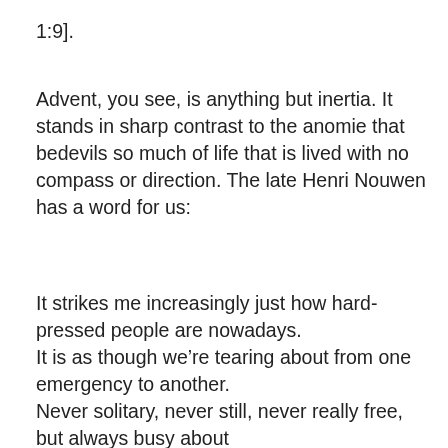1:9].
Advent, you see, is anything but inertia. It stands in sharp contrast to the anomie that bedevils so much of life that is lived with no compass or direction. The late Henri Nouwen has a word for us:
It strikes me increasingly just how hard-pressed people are nowadays.
It is as though we’re tearing about from one emergency to another.
Never solitary, never still, never really free, but always busy about
something or other that just can’t wait. Amid